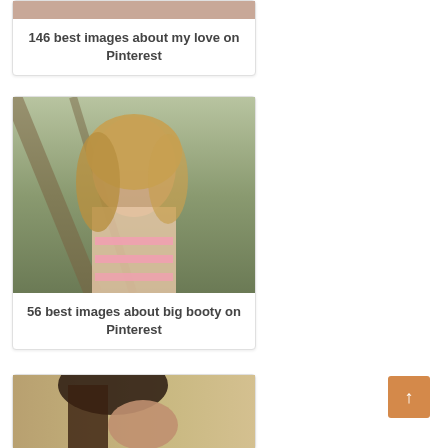[Figure (photo): Partial photo visible at top of page - person's torso/shoulders]
146 best images about my love on Pinterest
[Figure (photo): Young woman with curly blonde hair wearing a pink and white striped top, looking over her shoulder outdoors under a wooden structure]
56 best images about big booty on Pinterest
[Figure (photo): Dark-haired woman partially visible at bottom of page]